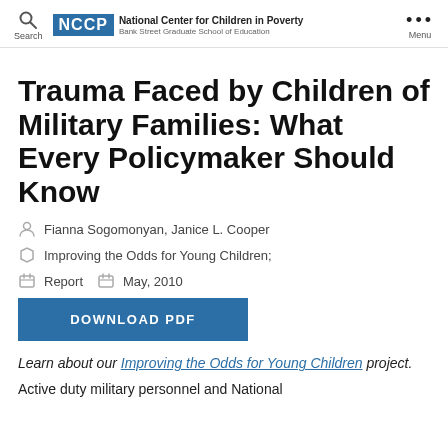NCCP National Center for Children in Poverty Bank Street Graduate School of Education | Search | Menu
Trauma Faced by Children of Military Families: What Every Policymaker Should Know
Fianna Sogomonyan, Janice L. Cooper
Improving the Odds for Young Children;
Report   May, 2010
DOWNLOAD PDF
Learn about our Improving the Odds for Young Children project.
Active duty military personnel and National